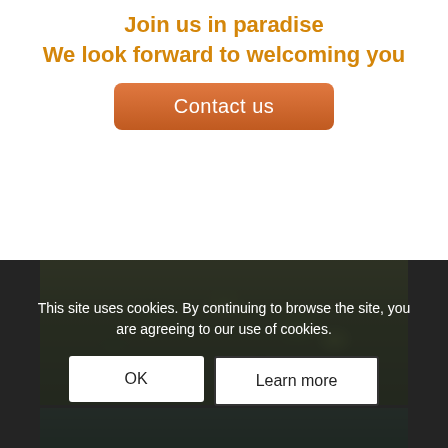Join us in paradise
We look forward to welcoming you
Contact us
[Figure (photo): Close-up photograph of tropical green leaves and foliage, with a light tree trunk visible in the background and blue sky]
[Figure (photo): Photograph of large granite boulders in shallow water with lush green jungle/forest in the background]
This site uses cookies. By continuing to browse the site, you are agreeing to our use of cookies.
OK
Learn more